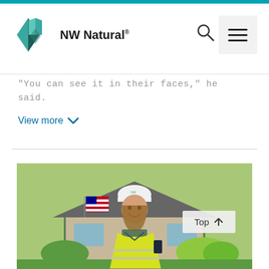NW Natural®
"You can see it in their faces," he said.
View more ∨
[Figure (photo): NW Natural employee wearing a white hard hat and yellow safety vest, smiling in front of a residential house with an American flag and green shrubs]
Top ↑